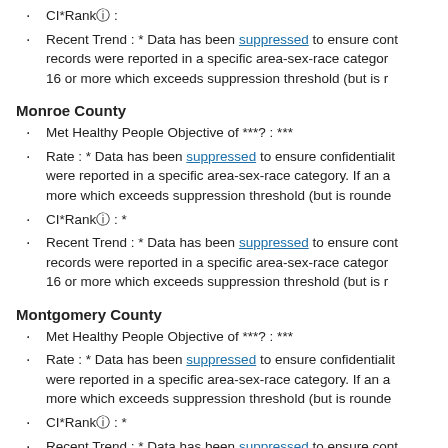CI*Rankⓘ :
Recent Trend : * Data has been suppressed to ensure confidentiality and stability of rate estimates. Fewer than 16 records were reported in a specific area-sex-race category. If an average count of 3 is shown, the total number of cases for the time period is 16 or more which exceeds suppression threshold (but is rounded to 3).
Monroe County
Met Healthy People Objective of ***? : ***
Rate : * Data has been suppressed to ensure confidentiality and stability of rate estimates. Fewer than 16 records were reported in a specific area-sex-race category. If an average count of 3 is shown, the total number of cases for the time period is 16 or more which exceeds suppression threshold (but is rounded to 3).
CI*Rankⓘ : *
Recent Trend : * Data has been suppressed to ensure confidentiality and stability of rate estimates. Fewer than 16 records were reported in a specific area-sex-race category. If an average count of 3 is shown, the total number of cases for the time period is 16 or more which exceeds suppression threshold (but is rounded to 3).
Montgomery County
Met Healthy People Objective of ***? : ***
Rate : * Data has been suppressed to ensure confidentiality and stability of rate estimates. Fewer than 16 records were reported in a specific area-sex-race category. If an average count of 3 is shown, the total number of cases for the time period is 16 or more which exceeds suppression threshold (but is rounded to 3).
CI*Rankⓘ : *
Recent Trend : * Data has been suppressed to ensure confidentiality